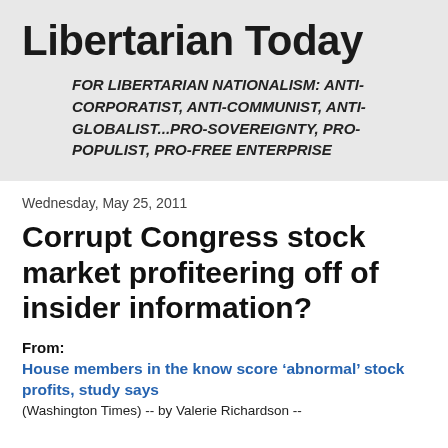Libertarian Today
FOR LIBERTARIAN NATIONALISM: ANTI-CORPORATIST, ANTI-COMMUNIST, ANTI-GLOBALIST...PRO-SOVEREIGNTY, PRO-POPULIST, PRO-FREE ENTERPRISE
Wednesday, May 25, 2011
Corrupt Congress stock market profiteering off of insider information?
From:
House members in the know score ‘abnormal’ stock profits, study says
(Washington Times) -- by Valerie Richardson --
House members in the know score ‘abnormal’ stock profits, study says